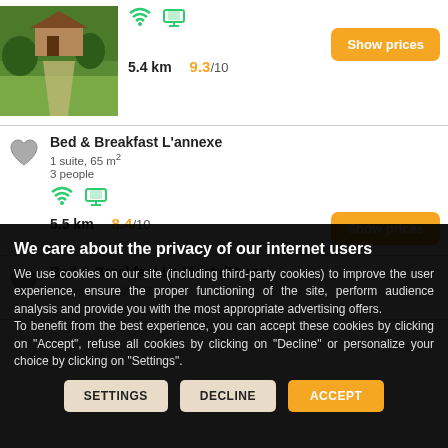[Figure (photo): Green landscape property photo, partially visible at top]
5.4 km   9.3/10
Show prices
Bed & Breakfast L'annexe
1 suite, 65 m²
3 people
5.5 km   8.4/10
Show prices
Bed & Breakfast Le Mont d'Auge
3 bedrooms, 200-209 m²
We care about the privacy of our internet users
We use cookies on our site (including third-party cookies) to improve the user experience, ensure the proper functioning of the site, perform audience analysis and provide you with the most appropriate advertising offers.
To benefit from the best experience, you can accept these cookies by clicking on "Accept", refuse all cookies by clicking on "Decline" or personalize your choice by clicking on "Settings".
SETTINGS
DECLINE
ACCEPT